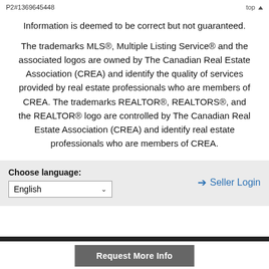P2#1369645448   top
Information is deemed to be correct but not guaranteed.
The trademarks MLS®, Multiple Listing Service® and the associated logos are owned by The Canadian Real Estate Association (CREA) and identify the quality of services provided by real estate professionals who are members of CREA. The trademarks REALTOR®, REALTORS®, and the REALTOR® logo are controlled by The Canadian Real Estate Association (CREA) and identify real estate professionals who are members of CREA.
Choose language: English   Seller Login
Request More Info